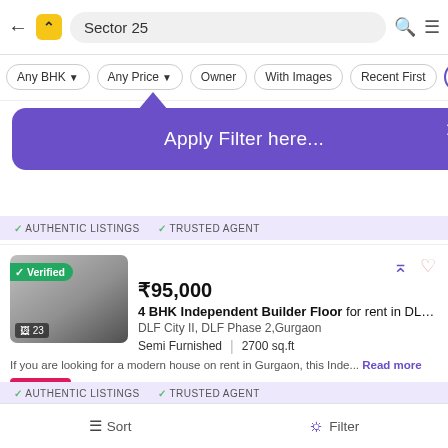[Figure (screenshot): Mobile app search bar with back arrow, Housing.com logo (yellow square with chevron), search field showing 'Sector 25', search icon and hamburger menu]
[Figure (screenshot): Filter pills row: Any BHK (dropdown), Any Price (dropdown), Owner, With Images, Recent First, and an active filter icon button]
[Figure (screenshot): Purple tooltip popup with arrow pointing up, text 'Apply Filter here...' and X close button]
✓ AUTHENTIC LISTINGS   ✓ TRUSTED AGENT
₹95,000
4 BHK Independent Builder Floor for rent in DLF P...
DLF City II, DLF Phase 2,Gurgaon
Semi Furnished  |  2700 sq.ft
If you are looking for a modern house on rent in Gurgaon, this Inde... Read more
OFFER  1 month rent off + 4 More Offers
Kayi Home's  HOUSING EXPERT
✓ AUTHENTIC LISTINGS   ✓ TRUSTED AGENT